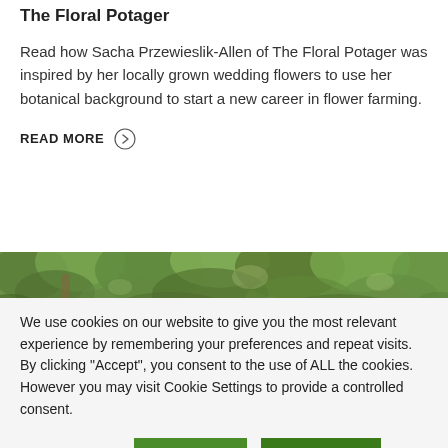The Floral Potager
Read how Sacha Przewieslik-Allen of The Floral Potager was inspired by her locally grown wedding flowers to use her botanical background to start a new career in flower farming.
READ MORE
[Figure (photo): Outdoor photo showing a dense green hedge or tree canopy, with dappled light and foliage filling the frame.]
We use cookies on our website to give you the most relevant experience by remembering your preferences and repeat visits. By clicking “Accept”, you consent to the use of ALL the cookies. However you may visit Cookie Settings to provide a controlled consent.
Cookie settings   REJECT   ACCEPT